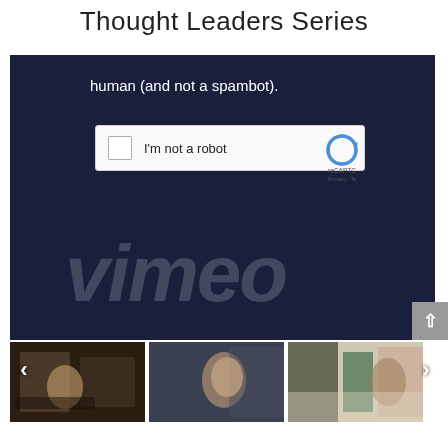Thought Leaders Series
[Figure (screenshot): Vimeo CAPTCHA verification overlay on dark navy background with reCAPTCHA 'I'm not a robot' checkbox widget and partial Vimeo logo text visible beneath]
human (and not a spambot).
I'm not a robot
reCAPTC
Privacy - Te
[Figure (photo): Three video thumbnails in a row showing scenes from Thought Leaders Series videos — a meeting room scene, a man in profile, and a gallery/office setting. Navigation arrows on left and right sides.]